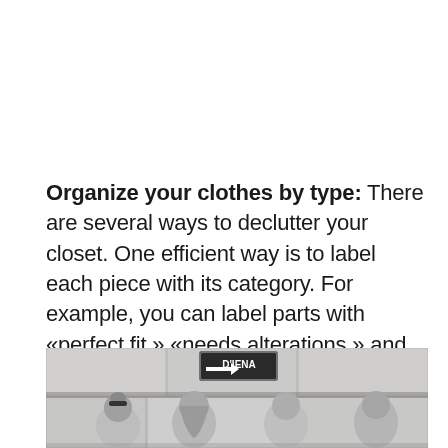Organize your clothes by type: There are several ways to declutter your closet. One efficient way is to label each piece with its category. For example, you can label parts with «perfect fit,» «needs alterations,» and «donate.»
[Figure (photo): Black and white photograph of several women standing near a stone wall with a D'IENA directional sign visible at the top.]